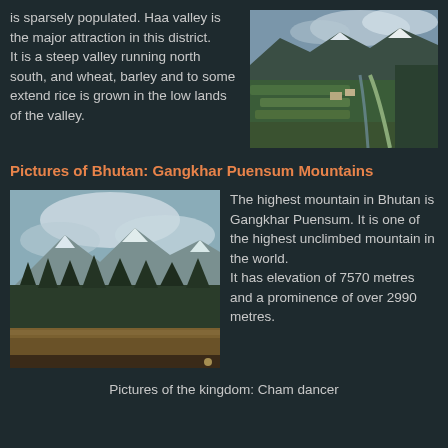is sparsely populated. Haa valley is the major attraction in this district.
It is a steep valley running north south, and wheat, barley and to some extend rice is grown in the low lands of the valley.
[Figure (photo): Aerial view of Haa Valley in Bhutan, showing green terraced fields, a winding river, forested mountain slopes, and snow-capped peaks in the background under a cloudy sky.]
Pictures of Bhutan: Gangkhar Puensum Mountains
[Figure (photo): View of Gangkhar Puensum mountain landscape showing snow-capped peaks in the distance, dense conifer forests in the foreground, and a partly cloudy sky.]
The highest mountain in Bhutan is Gangkhar Puensum. It is one of the highest unclimbed mountain in the world.
It has elevation of 7570 metres and a prominence of over 2990 metres.
Pictures of the kingdom: Cham dancer